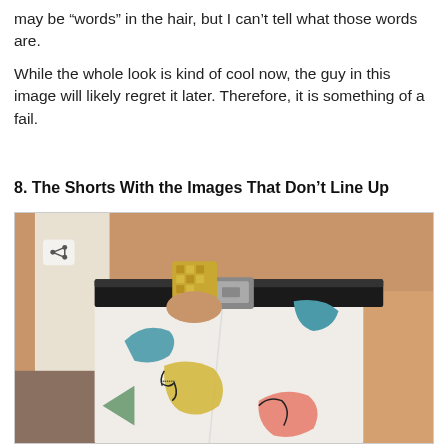may be “words” in the hair, but I can’t tell what those words are.
While the whole look is kind of cool now, the guy in this image will likely regret it later. Therefore, it is something of a fail.
8. The Shorts With the Images That Don’t Line Up
[Figure (photo): A person wearing white shorts with cartoon dinosaur images that don't line up across the seams, with a black patent leather belt.]